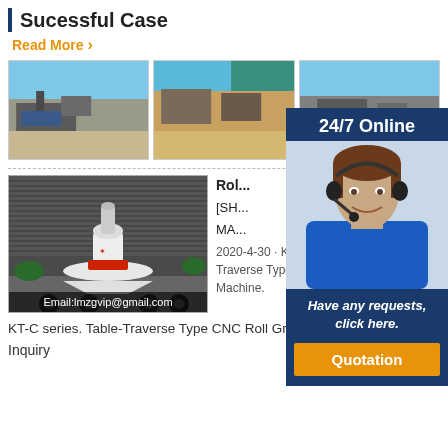Sucessful Case
Read More
[Figure (photo): Three photos of quarry/crushing plant machinery in outdoor industrial settings]
[Figure (photo): 24/7 Online customer service representative with headset overlay panel]
[Figure (photo): Large white cone crusher or vertical shaft impact machine on a truck, with Email:lmzgvip@gmail.com overlay]
Rol... [SH... MA... 2020-4-30 · KWA-D series. Wheel-Traverse Type CNC Roll Grinding Machine. KT-C series. Table-Traverse Type CNC Roll Grinding Machine.
KT-C series. Table-Traverse Type CNC Roll Grinding Machine.
Inquiry